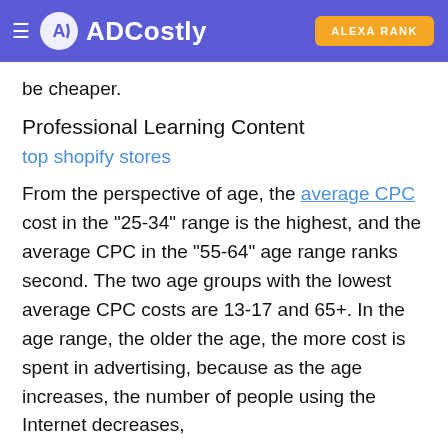ADCostly | ALEXA RANK
be cheaper.
Professional Learning Content
top shopify stores
From the perspective of age, the average CPC cost in the "25-34" range is the highest, and the average CPC in the "55-64" age range ranks second. The two age groups with the lowest average CPC costs are 13-17 and 65+. In the age range, the older the age, the more cost is spent in advertising, because as the age increases, the number of people using the Internet decreases,